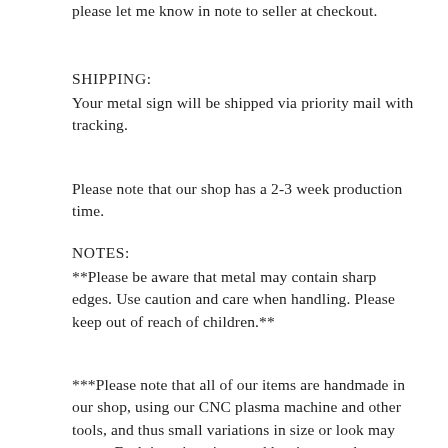please let me know in note to seller at checkout.
SHIPPING:
Your metal sign will be shipped via priority mail with tracking.
Please note that our shop has a 2-3 week production time.
NOTES:
**Please be aware that metal may contain sharp edges. Use caution and care when handling. Please keep out of reach of children.**
***Please note that all of our items are handmade in our shop, using our CNC plasma machine and other tools, and thus small variations in size or look may occur. Each item is unique and has its own character, so no two items are exactly alike. All items vary in color, shade, and degree of